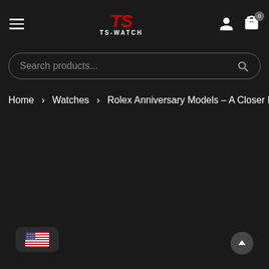TS-WATCH
Search products...
Home > Watches > Rolex Anniversary Models – A Closer Lo
[Figure (other): US flag language selector button at bottom left]
[Figure (other): Scroll-to-top or navigation button at bottom right]